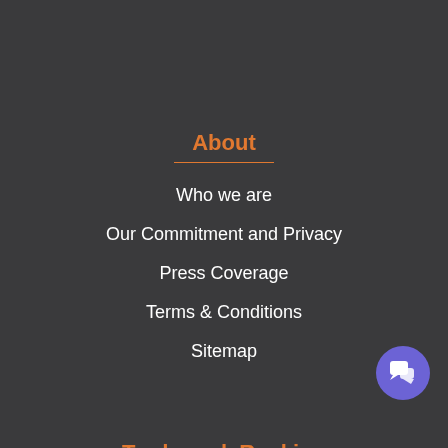About
Who we are
Our Commitment and Privacy
Press Coverage
Terms & Conditions
Sitemap
Trademark Ranking
Company Ranking
[Figure (illustration): Purple circular chat button with speech bubble icon in bottom right corner]